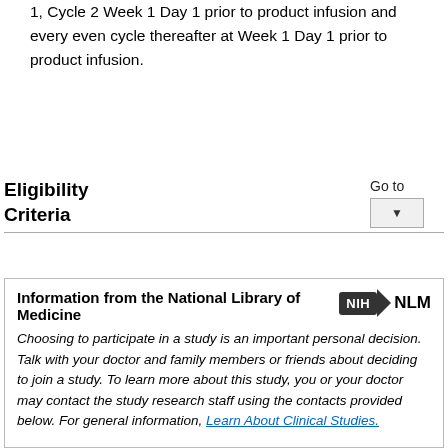1, Cycle 2 Week 1 Day 1 prior to product infusion and every even cycle thereafter at Week 1 Day 1 prior to product infusion.
Eligibility Criteria
Information from the National Library of Medicine
Choosing to participate in a study is an important personal decision. Talk with your doctor and family members or friends about deciding to join a study. To learn more about this study, you or your doctor may contact the study research staff using the contacts provided below. For general information, Learn About Clinical Studies.